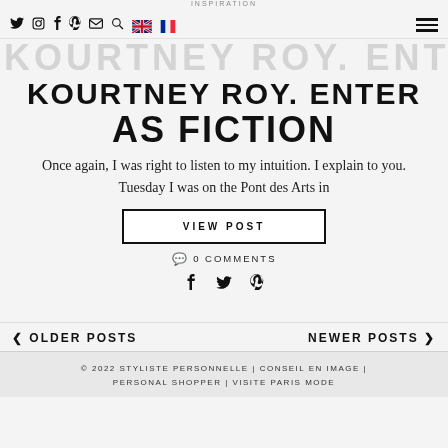INSPIRATION — KOURTNEY ROY. ENTER AS FICTION
KOURTNEY ROY. ENTER AS FICTION
Once again, I was right to listen to my intuition. I explain to you. Tuesday I was on the Pont des Arts in
VIEW POST
0 COMMENTS
OLDER POSTS
NEWER POSTS
© 2022 STYLISTE PERSONNELLE | CONSEIL EN IMAGE | PERSONAL SHOPPER | VISITE PARIS MODE